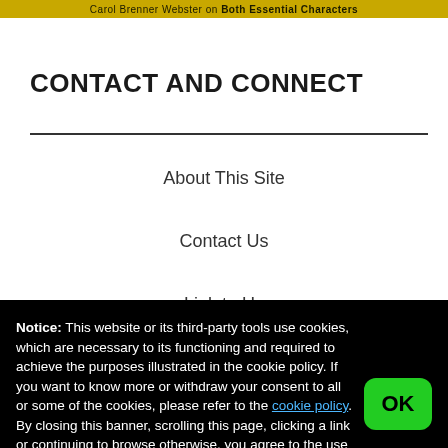Carol Brenner Webster on Both Essential Characters
CONTACT AND CONNECT
About This Site
Contact Us
Link to Us
Site Comment Policy
Notice: This website or its third-party tools use cookies, which are necessary to its functioning and required to achieve the purposes illustrated in the cookie policy. If you want to know more or withdraw your consent to all or some of the cookies, please refer to the cookie policy. By closing this banner, scrolling this page, clicking a link or continuing to browse otherwise, you agree to the use of cookies.